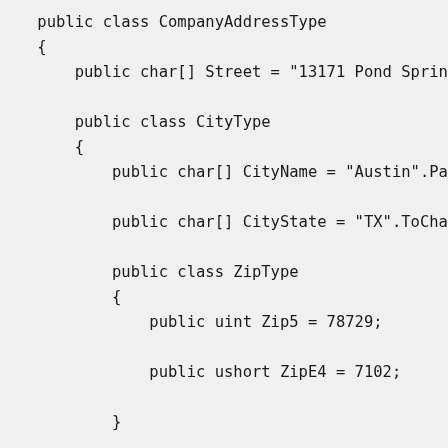public class CompanyAddressType
{
    public char[] Street = "13171 Pond Spring...

    public class CityType
    {
        public char[] CityName = "Austin".Pac...

        public char[] CityState = "TX".ToChar...

        public class ZipType
        {
            public uint Zip5 = 78729;

            public ushort ZipE4 = 7102;

        }

        public ZipType Zip = new ZipType();

    }

    public CityType City = new CityType();

}

public CompanyAddressType CompanyAddress = ne...